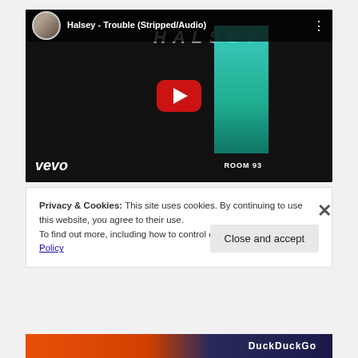[Figure (screenshot): YouTube embedded video thumbnail for 'Halsey - Trouble (Stripped/Audio)' with Vevo branding, showing HALSEY text, a teal room image with 'ROOM 93' label, and a red YouTube play button.]
Privacy & Cookies: This site uses cookies. By continuing to use this website, you agree to their use.
To find out more, including how to control cookies, see here: Cookie Policy
Close and accept
DuckDuckGo